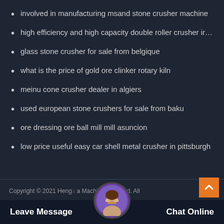involved in manufacturing msand stone crusher machine
high efficiency and high capacity double roller crusher ir…
glass stone crusher for sale from belgique
what is the price of gold ore clinker rotary kiln
meinu cone crusher dealer in algiers
used european stone crushers for sale from baku
ore dressing ore ball mill mill asuncion
low price useful easy car shell metal crusher in pittsburgh
Copyright © 2021 Heng a Machinery Co., ltd. All rights reserved. Sitemap
Leave Message   Chat Online